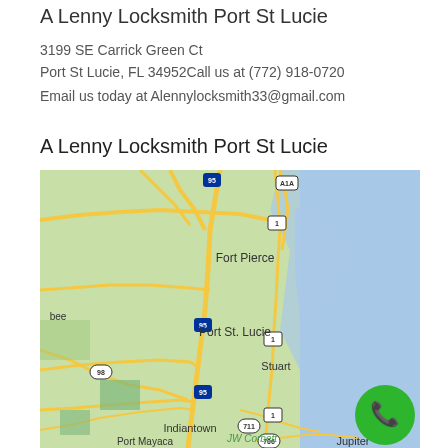A Lenny Locksmith Port St Lucie
3199 SE Carrick Green Ct
Port St Lucie, FL 34952Call us at (772) 918-0720
Email us today at Alennylocksmith33@gmail.com
A Lenny Locksmith Port St Lucie
[Figure (map): Google Maps view showing Fort Pierce, Port St. Lucie, Stuart, Indiantown, Port Mayaca, Jupiter, JW Corbett area with highways I-95, A1A, US-1, 98, 711, 706 marked. Ocean visible on right side.]